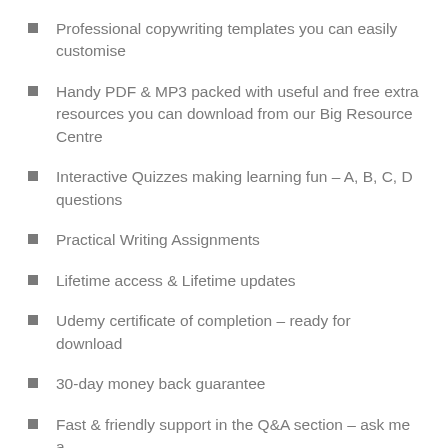Professional copywriting templates you can easily customise
Handy PDF & MP3 packed with useful and free extra resources you can download from our Big Resource Centre
Interactive Quizzes making learning fun – A, B, C, D questions
Practical Writing Assignments
Lifetime access & Lifetime updates
Udemy certificate of completion – ready for download
30-day money back guarantee
Fast & friendly support in the Q&A section – ask me a